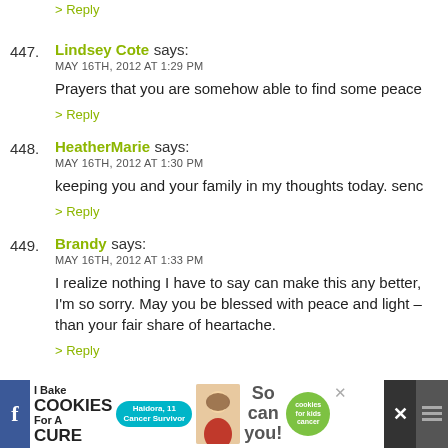> Reply
447. Lindsey Cote says:
MAY 16TH, 2012 AT 1:29 PM
Prayers that you are somehow able to find some peace
> Reply
448. HeatherMarie says:
MAY 16TH, 2012 AT 1:30 PM
keeping you and your family in my thoughts today. senc
> Reply
449. Brandy says:
MAY 16TH, 2012 AT 1:33 PM
I realize nothing I have to say can make this any better, I'm so sorry. May you be blessed with peace and light – than your fair share of heartache.
> Reply
[Figure (screenshot): Advertisement banner: I Bake COOKIES For A CURE – So can you! with Cookies for Kids Cancer logo and a photo of a girl]